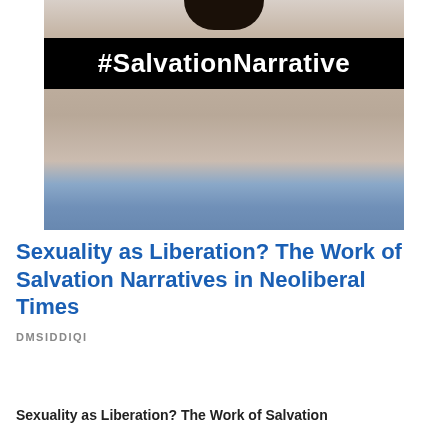[Figure (photo): A person with long dark hair, torso visible, holding a blue fabric/clothing item. A black banner overlaid on the upper portion of the image displays the hashtag #SalvationNarrative in white bold text.]
Sexuality as Liberation? The Work of Salvation Narratives in Neoliberal Times
DMSIDDIQI
Sexuality as Liberation? The Work of Salvation